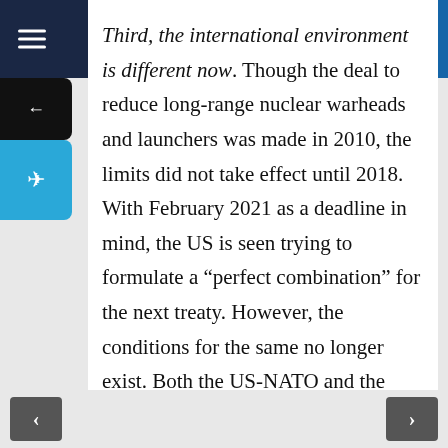The Dispatch
Third, the international environment is different now. Though the deal to reduce long-range nuclear warheads and launchers was made in 2010, the limits did not take effect until 2018. With February 2021 as a deadline in mind, the US is seen trying to formulate a “perfect combination” for the next treaty. However, the conditions for the same no longer exist. Both the US-NATO and the US-EU relations were called in doubt…